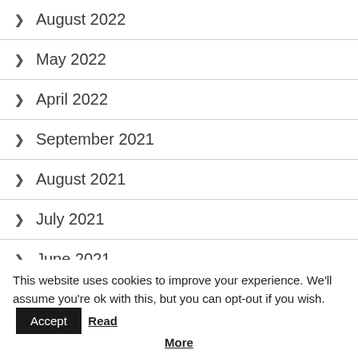August 2022
May 2022
April 2022
September 2021
August 2021
July 2021
June 2021
May 2021
This website uses cookies to improve your experience. We'll assume you're ok with this, but you can opt-out if you wish. Accept Read More